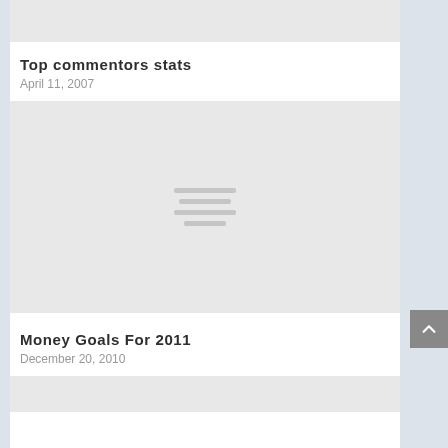[Figure (other): Gray placeholder image at top of page, partially visible]
Top commentors stats
April 11, 2007
[Figure (other): Gray placeholder image with four horizontal lines in the center, representing a loading or placeholder graphic]
Money Goals For 2011
December 20, 2010
[Figure (other): Gray placeholder image at bottom, partially visible]